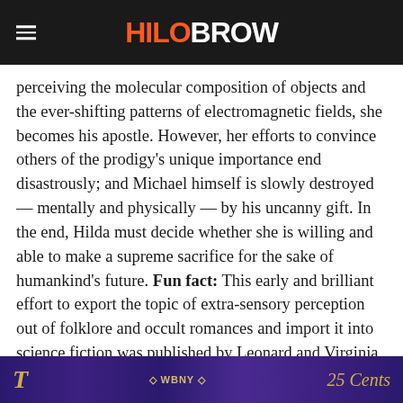HiloBrow
perceiving the molecular composition of objects and the ever-shifting patterns of electromagnetic fields, she becomes his apostle. However, her efforts to convince others of the prodigy's unique importance end disastrously; and Michael himself is slowly destroyed — mentally and physically — by his uncanny gift. In the end, Hilda must decide whether she is willing and able to make a supreme sacrifice for the sake of humankind's future. Fun fact: This early and brilliant effort to export the topic of extra-sensory perception out of folklore and occult romances and import it into science fiction was published by Leonard and Virginia Woolf's Hogarth Press. Reissued by HiLoBooks, with an Introduction by Mark Kingwell.
[Figure (photo): Bottom portion of a vintage pulp magazine or book cover with purple/dark background, yellow italic text on the left, 'WBNY' text in the center, and '25 Cents' text on the right.]